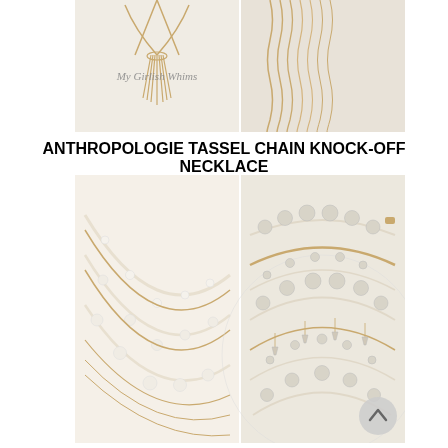[Figure (photo): Two photos side by side: left shows a gold tassel chain necklace with watermark 'My Girlish Whims', right shows a close-up of gold wavy chain strands.]
ANTHROPOLOGIE TASSEL CHAIN KNOCK-OFF NECKLACE
[Figure (photo): Two photos side by side: left shows layered pearl and gold chain necklace, right shows a multi-strand pearl and gold bead collar necklace from Anthropologie.]